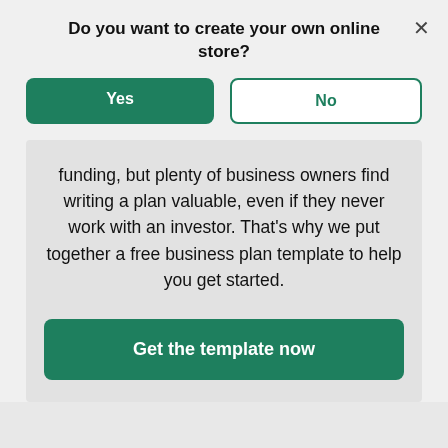Do you want to create your own online store?
Yes
No
funding, but plenty of business owners find writing a plan valuable, even if they never work with an investor. That’s why we put together a free business plan template to help you get started.
Get the template now